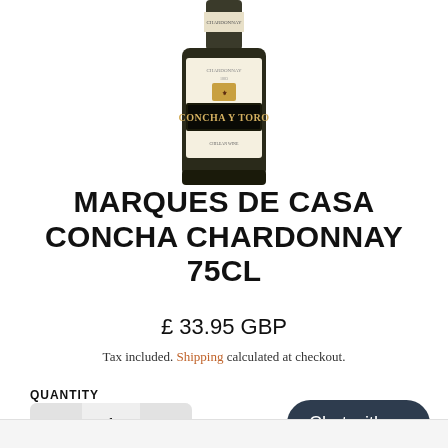[Figure (photo): Wine bottle of Marques de Casa Concha Chardonnay by Concha y Toro, partially cropped showing the label and bottle body]
MARQUES DE CASA CONCHA CHARDONNAY 75CL
£ 33.95 GBP
Tax included. Shipping calculated at checkout.
QUANTITY
1
ADD A PERSONAL MESSAGE
Chat with us